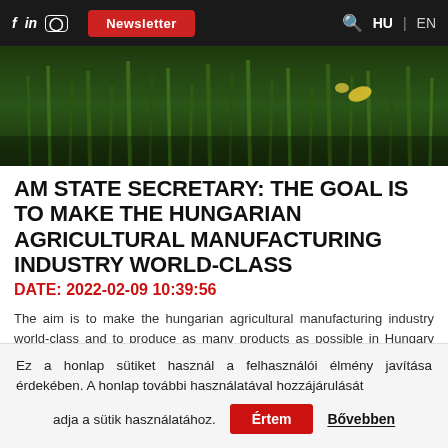f in Instagram | Newsletter | Q HU | EN
[Figure (photo): Close-up photo of green grass/wheat field with dark background and small yellow accent light]
AM STATE SECRETARY: THE GOAL IS TO MAKE THE HUNGARIAN AGRICULTURAL MANUFACTURING INDUSTRY WORLD-CLASS
DATE: 2022-02-09 10:39:56
The aim is to make the hungarian agricultural manufacturing industry world-class and to produce as many products as possible in Hungary that can be produced on domestic and
Ez a honlap sütiket használ a felhasználói élmény javítása érdekében. A honlap további használatával hozzájárulását adja a sütik használatához. Értem Bővebben